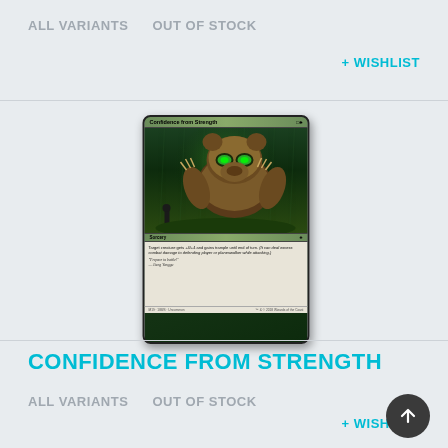ALL VARIANTS    OUT OF STOCK
+ WISHLIST
[Figure (illustration): Magic: The Gathering card named 'Confidence from Strength' — a green sorcery card featuring a large bear creature attacking with trample ability artwork]
CONFIDENCE FROM STRENGTH
ALL VARIANTS    OUT OF STOCK
+ WISHLIST